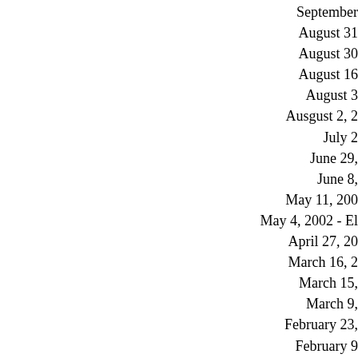September
August 31
August 30
August 16
August 3
Ausgust 2, 2
July 2
June 29,
June 8,
May 11, 200
May 4, 2002 - El
April 27, 20
March 16, 2
March 15,
March 9,
February 23,
February 9
Decemb
December 7,
December 1,
November